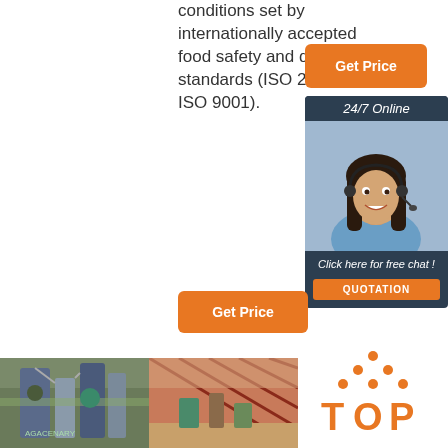conditions set by internationally accepted food safety and quality standards (ISO 22000 and ISO 9001).
[Figure (infographic): Orange 'Get Price' button]
[Figure (infographic): 24/7 Online customer service sidebar with a woman wearing a headset, 'Click here for free chat!' text, and orange QUOTATION button]
[Figure (infographic): Orange 'Get Price' button]
[Figure (photo): Industrial grain milling machinery in a factory setting]
[Figure (photo): Interior of a large grain processing facility with red structural framework]
[Figure (logo): TOP logo with orange dots arranged in a triangle above the letters T-O-P]